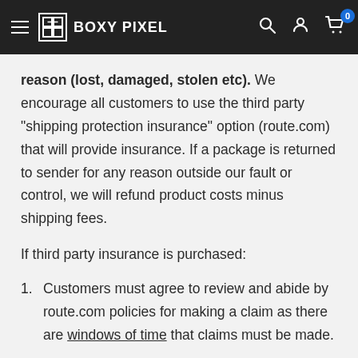BOXY PIXEL
reason (lost, damaged, stolen etc). We encourage all customers to use the third party "shipping protection insurance" option (route.com) that will provide insurance. If a package is returned to sender for any reason outside our fault or control, we will refund product costs minus shipping fees.
If third party insurance is purchased:
1. Customers must agree to review and abide by route.com policies for making a claim as there are windows of time that claims must be made.
2. Any international package that is lost of confiscated in customs will not be refunded (see third party insurance policy)